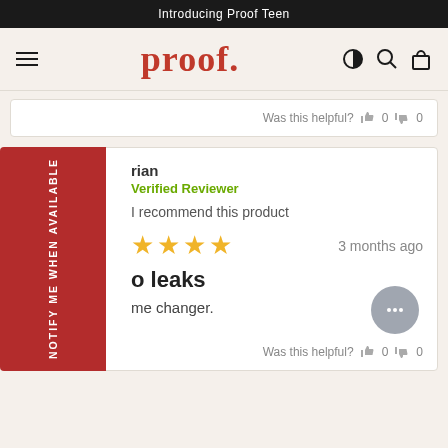Introducing Proof Teen
[Figure (screenshot): Proof brand navigation bar with hamburger menu, 'proof.' logo in red serif font, and icons for contrast, search, and shopping bag]
Was this helpful? 0 0
rian
Verified Reviewer
I recommend this product
3 months ago
o leaks
me changer.
Was this helpful? 0 0